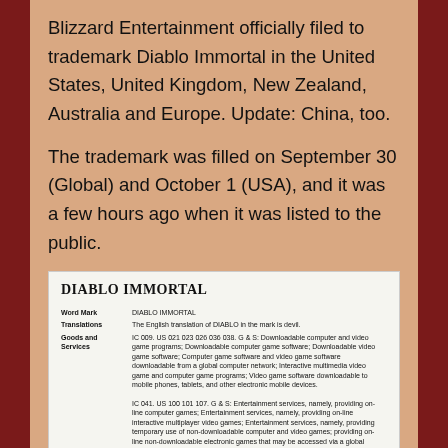Blizzard Entertainment officially filed to trademark Diablo Immortal in the United States, United Kingdom, New Zealand, Australia and Europe. Update: China, too.
The trademark was filled on September 30 (Global) and October 1 (USA), and it was a few hours ago when it was listed to the public.
| DIABLO IMMORTAL |  |
| Word Mark | DIABLO IMMORTAL |
| Translations | The English translation of DIABLO in the mark is devil. |
| Goods and Services | IC 009. US 021 023 026 036 038. G & S: Downloadable computer and video game programs; Downloadable computer game software; Downloadable video game software; Computer game software and video game software downloadable from a global computer network; Interactive multimedia video game and computer game programs; Video game software downloadable to mobile phones, tablets, and other electronic mobile devices.
IC 041. US 100 101 107. G & S: Entertainment services, namely, providing on-line computer games; Entertainment services, namely, providing on-line video games; Entertainment services, namely, providing on-line interactive multiplayer video games; Entertainment services, namely, providing temporary use of non-downloadable computer and video games; providing on-line non-downloadable electronic games that may be accessed via a global computer network; Entertainment services, namely, arranging and conducting of competitions in the field of electronic games; providing online news and information in the field of electronic games; Gaming services in the nature of conducting online computer game tournaments; Providing a web-based system and on-line portal for customers to participate in on-line gaming |
| Standard Characters Claimed |  |
| Mark Drawing Code | (4) STANDARD CHARACTER MARK |
| Serial Number | 88230671 |
| Filing Date | October 1, 2020 |